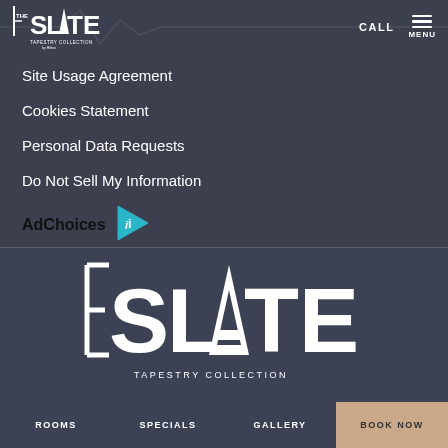[Figure (logo): The Slate Tapestry Collection by Hilton small header logo in white]
CALL
[Figure (other): Menu hamburger icon with MENU text]
Site Usage Agreement
Cookies Statement
Personal Data Requests
Do Not Sell My Information
AdChoices
[Figure (logo): Large The Slate Tapestry Collection by Hilton logo in white on dark background]
ROOMS
SPECIALS
GALLERY
BOOK NOW